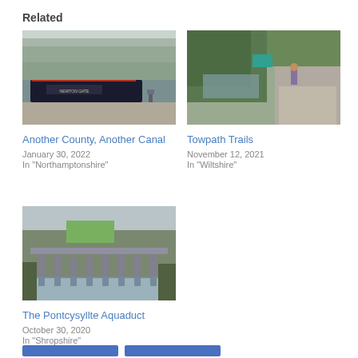Related
[Figure (photo): A dark narrowboat moored along a canal towpath with bare winter trees in the background and a person walking away in the distance.]
Another County, Another Canal
January 30, 2022
In "Northamptonshire"
[Figure (photo): A person walking along a canal towpath with overgrown green vegetation on both sides and a teal container visible in the background.]
Towpath Trails
November 12, 2021
In "Wiltshire"
[Figure (photo): Aerial view of the Pontcysyllte Aqueduct spanning a river valley surrounded by autumn trees, with green fields visible in the background.]
The Pontcysyllte Aquaduct
October 30, 2020
In "Shropshire"